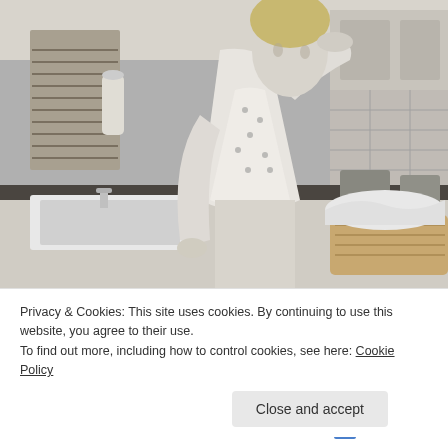[Figure (photo): Black and white vintage photograph of a 1950s housewife in a floral apron standing in a kitchen, holding her hand to her forehead in a tired or exasperated gesture, with a laundry basket of folded linens on the counter beside her.]
Privacy & Cookies: This site uses cookies. By continuing to use this website, you agree to their use.
To find out more, including how to control cookies, see here: Cookie Policy
Close and accept
Follow ...